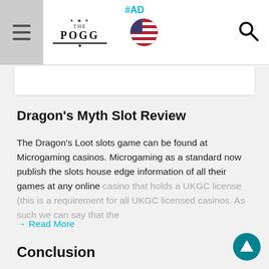#AD | The Pogg | Navigation bar with hamburger menu, logo, US flag, search icon
Dragon's Myth Slot Review
The Dragon's Loot slots game can be found at Microgaming casinos. Microgaming as a standard now publish the slots house edge information of all their games at any online casino that holds a UKGC license (this is a requirement for all UKGC licensed casinos. As such we can say that the
→ Read More
Conclusion